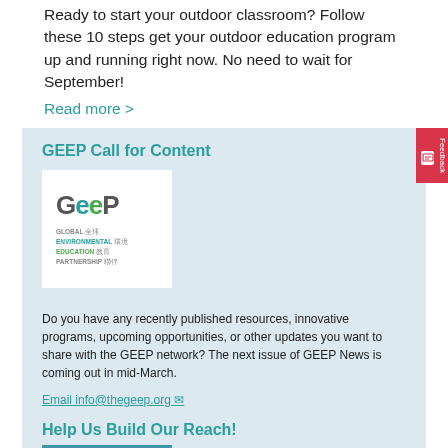Ready to start your outdoor classroom? Follow these 10 steps get your outdoor education program up and running right now. No need to wait for September!
Read more >
GEEP Call for Content
[Figure (logo): GEEP (Global Environmental Education Partnership) logo with Chinese characters]
Do you have any recently published resources, innovative programs, upcoming opportunities, or other updates you want to share with the GEEP network? The next issue of GEEP News is coming out in mid-March.
Email info@thegeep.org
Help Us Build Our Reach!
[Figure (photo): Blue water/ocean image]